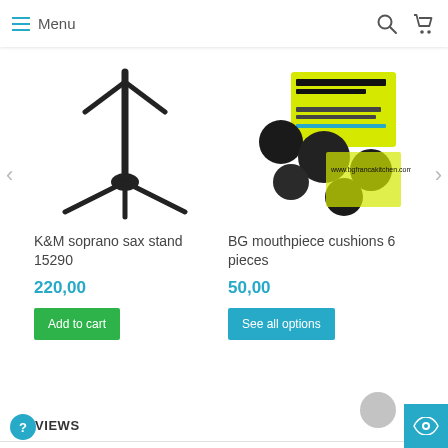Menu
[Figure (photo): K&M soprano sax stand 15290 product image - black tripod stand]
[Figure (photo): BG mouthpiece cushions 6 pieces product image - black cushions on yellow packaging]
K&M soprano sax stand 15290
220,00
Add to cart
BG mouthpiece cushions 6 pieces
50,00
See all options
REVIEWS
There is no reviews yet. Be the first to write us your opinion